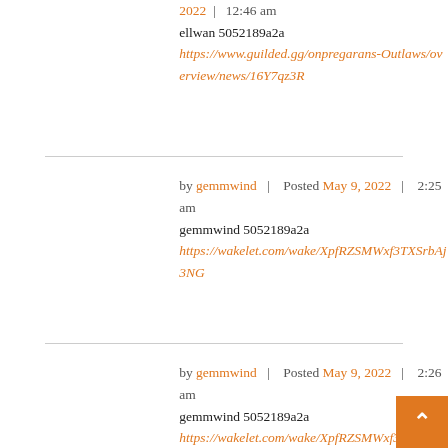2022 | 12:46 am
ellwan 5052189a2a
https://www.guilded.gg/onpregarans-Outlaws/overview/news/16Y7qz3R
by gemmwind | Posted May 9, 2022 | 2:25 am
gemmwind 5052189a2a
https://wakelet.com/wake/XpfRZSMWxf3TXSrbAj3NG
by gemmwind | Posted May 9, 2022 | 2:26 am
gemmwind 5052189a2a
https://wakelet.com/wake/XpfRZSMWxf3TXSrbAj3NG